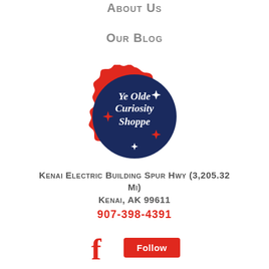About Us
Our Blog
[Figure (logo): Ye Olde Curiosity Shoppe badge logo — dark navy scalloped circle with red border, white text reading 'YE OLDE CURIOSITY SHOPPE' with red and white diamond sparkle decorations]
Kenai Electric Building Spur Hwy (3,205.32 Mi)
Kenai, AK 99611
907-398-4391
[Figure (other): Facebook Follow button row — red Facebook 'f' icon on the left, red rounded-rectangle Follow button on the right]